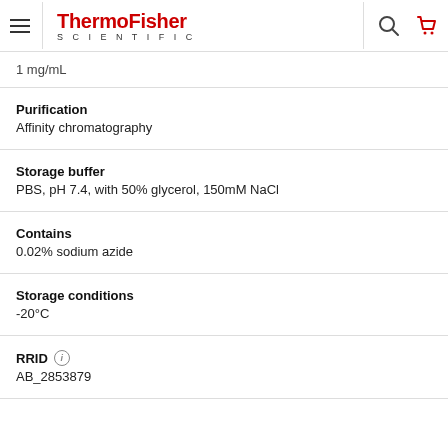ThermoFisher SCIENTIFIC
1 mg/mL
Purification
Affinity chromatography
Storage buffer
PBS, pH 7.4, with 50% glycerol, 150mM NaCl
Contains
0.02% sodium azide
Storage conditions
-20°C
RRID
AB_2853879